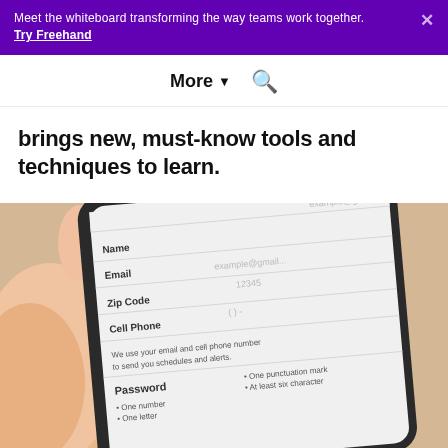Meet the whiteboard transforming the way teams work together. Try Freehand
More ▾ 🔍
brings new, must-know tools and techniques to learn.
[Figure (photo): A hand holding a smartphone displaying a registration form with fields: Name, Email, Zip Code, Cell Phone, and Password with requirements (One number, One letter, One punctuation mark, At least six character). The form shows placeholder text like 'example@gmail.co...' and '12345'.]